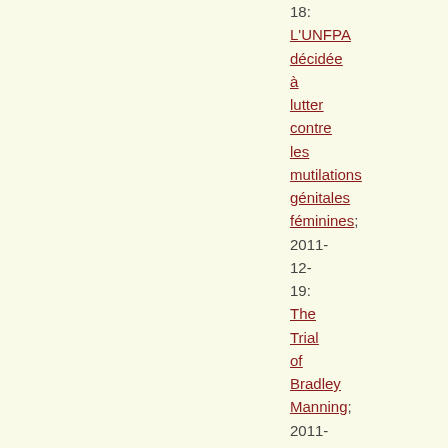18: L'UNFPA décidée à lutter contre les mutilations génitales féminines; 2011-12-19: The Trial of Bradley Manning; 2011-12-19: Mutilations génitales féminines MGF en Afrique; 2011-12-20: